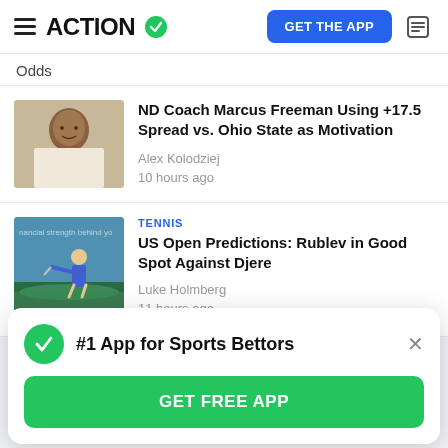ACTION  GET THE APP
Odds
[Figure (photo): Close-up photo of a man (ND Coach Marcus Freeman) looking sideways]
ND Coach Marcus Freeman Using +17.5 Spread vs. Ohio State as Motivation
Alex Kolodziej
10 hours ago
TENNIS
[Figure (photo): Tennis player hitting a shot on a blue court (US Open)]
US Open Predictions: Rublev in Good Spot Against Djere
Luke Holmberg
11 hours ago
#1 App for Sports Bettors
GET FREE APP